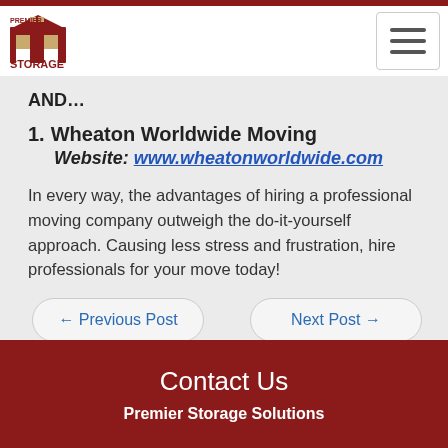Premier Storage Solutions
AND...
1. Wheaton Worldwide Moving
Website: www.wheatonworldwide.com
In every way, the advantages of hiring a professional moving company outweigh the do-it-yourself approach. Causing less stress and frustration, hire professionals for your move today!
Contact Us
Premier Storage Solutions